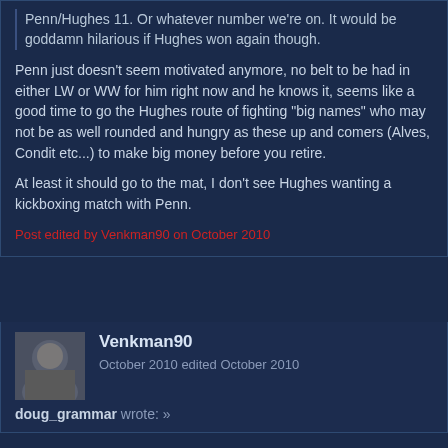Penn/Hughes 11. Or whatever number we're on. It would be goddamn hilarious if Hughes won again though.
Penn just doesn't seem motivated anymore, no belt to be had in either LW or WW for him right now and he knows it, seems like a good time to go the Hughes route of fighting "big names" who may not be as well rounded and hungry as these up and comers (Alves, Condit etc...) to make big money before you retire.
At least it should go to the mat, I don't see Hughes wanting a kickboxing match with Penn.
Post edited by Venkman90 on October 2010
Venkman90
October 2010 edited October 2010
doug_grammar wrote: »